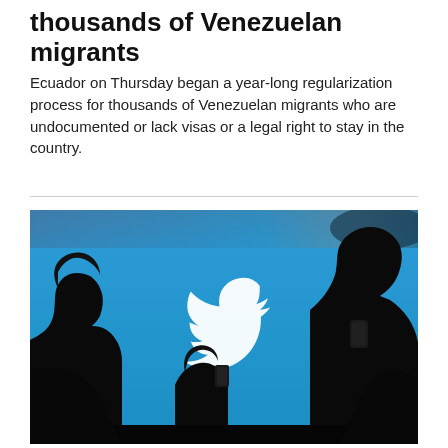thousands of Venezuelan migrants
Ecuador on Thursday began a year-long regularization process for thousands of Venezuelan migrants who are undocumented or lack visas or a legal right to stay in the country.
[Figure (photo): Silhouettes of three people holding smartphones against a bright blue Twitter logo background, with the white Twitter bird logo visible in the center.]